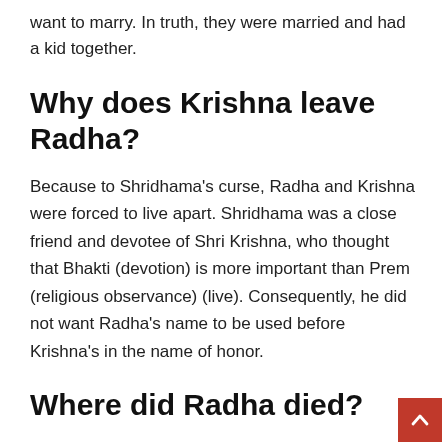want to marry. In truth, they were married and had a kid together.
Why does Krishna leave Radha?
Because to Shridhama’s curse, Radha and Krishna were forced to live apart. Shridhama was a close friend and devotee of Shri Krishna, who thought that Bhakti (devotion) is more important than Prem (religious observance) (live). Consequently, he did not want Radha’s name to be used before Krishna’s in the name of honor.
Where did Radha died?